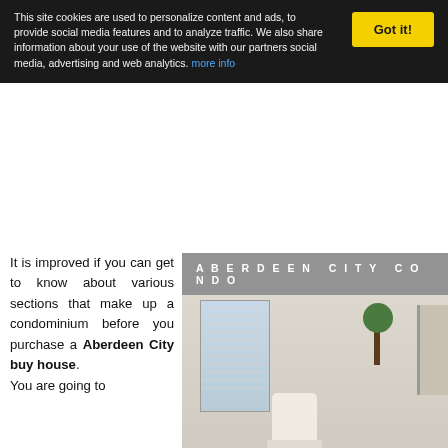This site cookies are used to personalize content and ads, to provide social media features and to analyze traffic. We also share information about your use of the website with our partners social media, advertising and web analytics. more info
It is improved if you can get to know about various sections that make up a condominium before you purchase a Aberdeen City buy house. You are going to
[Figure (photo): Interior photo of a condominium room with window blinds, a white chair, hardwood floor, and a plant. Overlaid text reads 'ABERDEEN CITY CONDO'.]